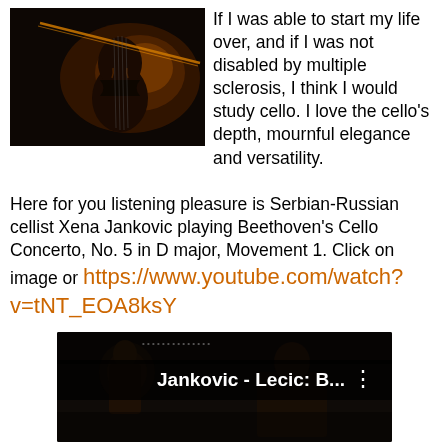[Figure (photo): Dark photo of a cello instrument with warm orange/amber lighting against a black background]
If I was able to start my life over, and if I was not disabled by multiple sclerosis, I think I would study cello. I love the cello's depth, mournful elegance and versatility.

Here for you listening pleasure is Serbian-Russian cellist Xena Jankovic playing Beethoven's Cello Concerto, No. 5 in D major, Movement 1. Click on image or https://www.youtube.com/watch?v=tNT_EOA8ksY
[Figure (screenshot): YouTube video thumbnail showing Jankovic - Lecic: B... with a performer image and three-dot menu icon]